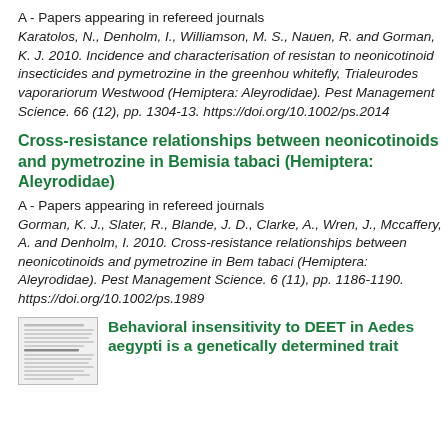A - Papers appearing in refereed journals
Karatolos, N., Denholm, I., Williamson, M. S., Nauen, R. and Gorman, K. J. 2010. Incidence and characterisation of resistance to neonicotinoid insecticides and pymetrozine in the greenhouse whitefly, Trialeurodes vaporariorum Westwood (Hemiptera: Aleyrodidae). Pest Management Science. 66 (12), pp. 1304-13. https://doi.org/10.1002/ps.2014
Cross-resistance relationships between neonicotinoids and pymetrozine in Bemisia tabaci (Hemiptera: Aleyrodidae)
A - Papers appearing in refereed journals
Gorman, K. J., Slater, R., Blande, J. D., Clarke, A., Wren, J., Mccaffery, A. and Denholm, I. 2010. Cross-resistance relationships between neonicotinoids and pymetrozine in Bemisia tabaci (Hemiptera: Aleyrodidae). Pest Management Science. 66 (11), pp. 1186-1190. https://doi.org/10.1002/ps.1989
[Figure (screenshot): Thumbnail image of a document page]
Behavioral insensitivity to DEET in Aedes aegypti is a genetically determined trait